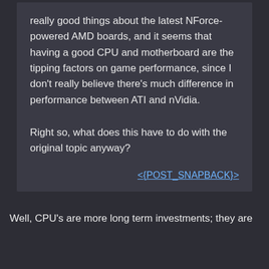really good things about the latest NForce-powered AMD boards, and it seems that having a good CPU and motherboard are the tipping factors on game performance, since I don't really believe there's much difference in performance between ATI and nVidia.

Right so, what does this have to do with the original topic anyway?
<{POST_SNAPBACK}>
Well, CPU's are more long term investments; they are